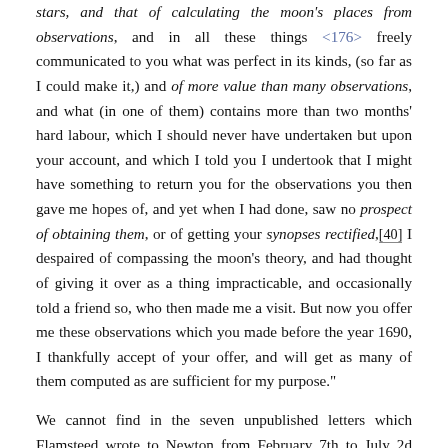stars, and that of calculating the moon's places from observations, and in all these things <176> freely communicated to you what was perfect in its kinds, (so far as I could make it,) and of more value than many observations, and what (in one of them) contains more than two months' hard labour, which I should never have undertaken but upon your account, and which I told you I undertook that I might have something to return you for the observations you then gave me hopes of, and yet when I had done, saw no prospect of obtaining them, or of getting your synopses rectified,[40] I despaired of compassing the moon's theory, and had thought of giving it over as a thing impracticable, and occasionally told a friend so, who then made me a visit. But now you offer me these observations which you made before the year 1690, I thankfully accept of your offer, and will get as many of them computed as are sufficient for my purpose."
We cannot find in the seven unpublished letters which Flamsteed wrote to Newton from February 7th to July 2d 1695, inclusive, anything to justify this letter. Flamsteed begins his letter of February